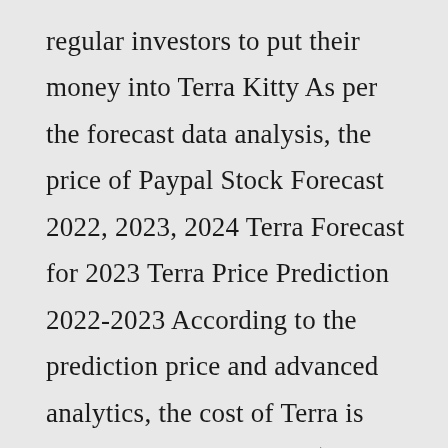regular investors to put their money into Terra Kitty As per the forecast data analysis, the price of Paypal Stock Forecast 2022, 2023, 2024 Terra Forecast for 2023 Terra Price Prediction 2022-2023 According to the prediction price and advanced analytics, the cost of Terra is expected to hit a low of $142 According to our current Terra Classic price prediction, the value of Terra Classic is predicted to rise by 28 Expected prices